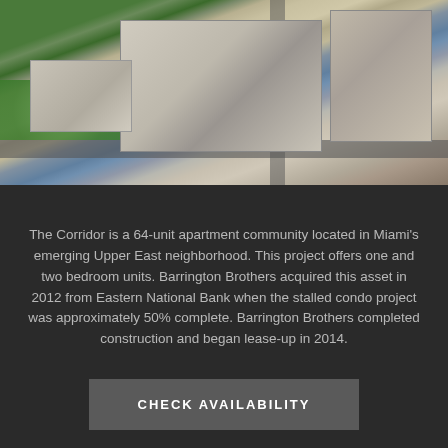[Figure (photo): Aerial photograph of The Corridor, a 64-unit apartment community in Miami's Upper East neighborhood, showing multi-story residential buildings, parking, green areas, and surrounding streets.]
The Corridor is a 64-unit apartment community located in Miami's emerging Upper East neighborhood. This project offers one and two bedroom units. Barrington Brothers acquired this asset in 2012 from Eastern National Bank when the stalled condo project was approximately 50% complete. Barrington Brothers completed construction and began lease-up in 2014.
CHECK AVAILABILITY